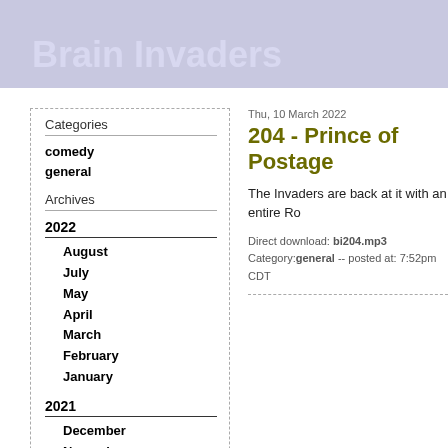Brain Invaders
Thu, 10 March 2022
204 - Prince of Postage
The Invaders are back at it with an entire Ro
Direct download: bi204.mp3
Category: general -- posted at: 7:52pm CDT
Categories
comedy
general
Archives
2022
August
July
May
April
March
February
January
2021
December
November
September
August
July